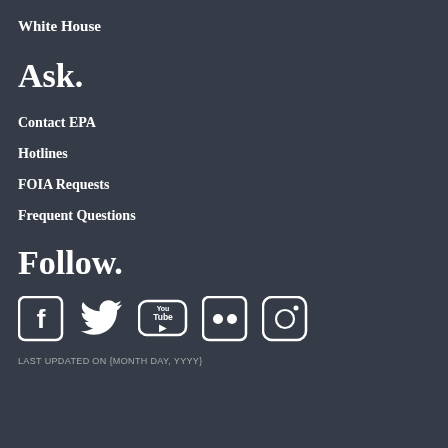White House
Ask.
Contact EPA
Hotlines
FOIA Requests
Frequent Questions
Follow.
[Figure (infographic): Social media icons: Facebook, Twitter, YouTube, Flickr, Instagram]
LAST UPDATED ON {MONTH DAY, YYYY}